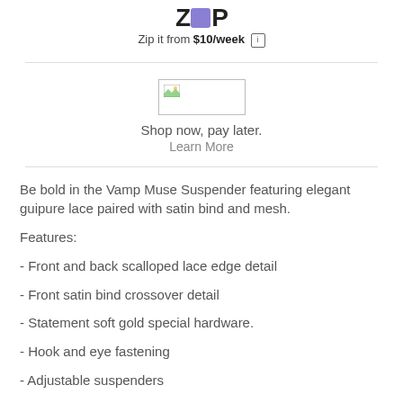[Figure (logo): Zip logo with stylized text 'ZIP' where the 'I' is replaced by a purple square]
Zip it from $10/week
[Figure (other): Broken image placeholder box]
Shop now, pay later.
Learn More
Be bold in the Vamp Muse Suspender featuring elegant guipure lace paired with satin bind and mesh.
Features:
- Front and back scalloped lace edge detail
- Front satin bind crossover detail
- Statement soft gold special hardware.
- Hook and eye fastening
- Adjustable suspenders